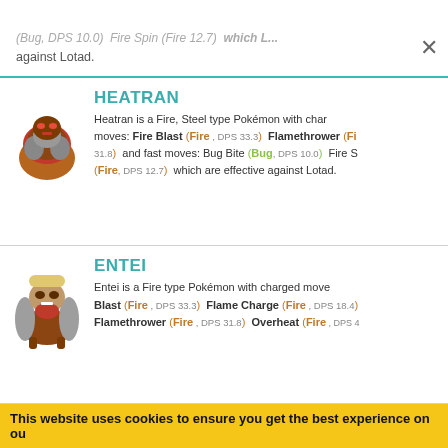(Bug, DPS 10.0) Fire Spin (Fire12.7) which ... against Lotad.
HEATRAN
Heatran is a Fire, Steel type Pokémon with charged moves: Fire Blast (Fire, DPS 33.3) Flamethrower (Fire, DPS 31.8) and fast moves: Bug Bite (Bug, DPS 10.0) Fire Spin (Fire, DPS 12.7) which are effective against Lotad.
ENTEI
Entei is a Fire type Pokémon with charged moves: Fire Blast (Fire, DPS 33.3) Flame Charge (Fire, DPS 18.4) Flamethrower (Fire, DPS 31.8) Overheat (Fire, DPS 4...
This website uses cookies to ensure you get the best experience on o...